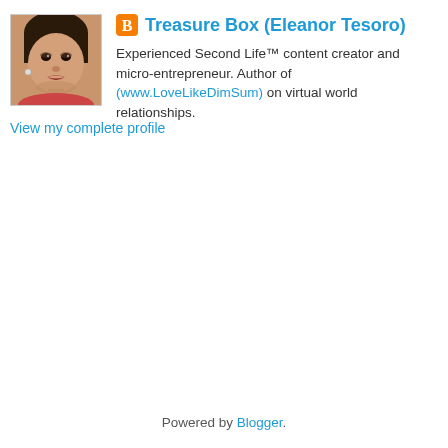[Figure (photo): Profile photo of Eleanor Tesoro, a woman smiling, with dark hair and an earring]
Treasure Box (Eleanor Tesoro)
Experienced Second Life™ content creator and micro-entrepreneur. Author of (www.LoveLikeDimSum) on virtual world relationships.
View my complete profile
Powered by Blogger.